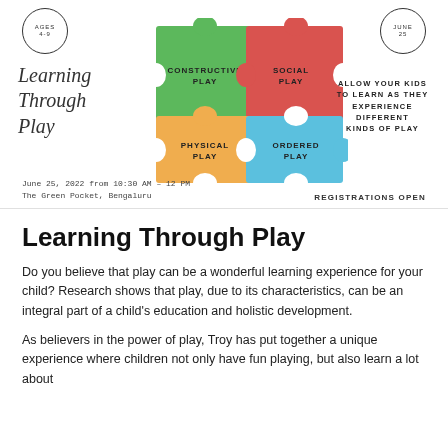[Figure (infographic): Learning Through Play promotional poster with four colored puzzle pieces (green, red, yellow, blue) labeled Constructive Play, Social Play, Physical Play, Ordered Play. Includes two circular badges (Ages 4-9, June 25), script logo text, and tagline 'Allow your kids to learn as they experience different kinds of play'.]
June 25, 2022 from 10:30 AM – 12 PM
The Green Pocket, Bengaluru
REGISTRATIONS OPEN
Learning Through Play
Do you believe that play can be a wonderful learning experience for your child? Research shows that play, due to its characteristics, can be an integral part of a child's education and holistic development.
As believers in the power of play, Troy has put together a unique experience where children not only have fun playing, but also learn a lot about